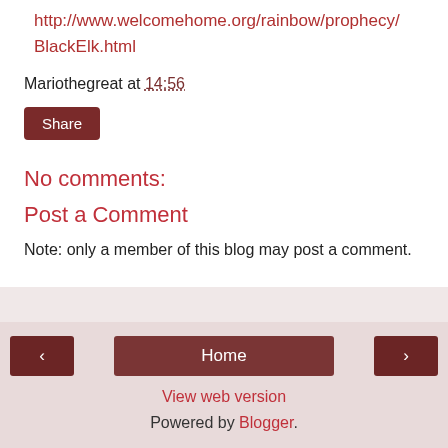http://www.welcomehome.org/rainbow/prophecy/BlackElk.html
Mariothegreat at 14:56
Share
No comments:
Post a Comment
Note: only a member of this blog may post a comment.
‹  Home  ›  View web version  Powered by Blogger.